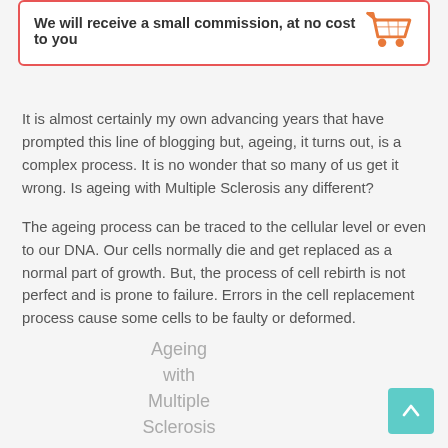We will receive a small commission, at no cost to you
It is almost certainly my own advancing years that have prompted this line of blogging but, ageing, it turns out, is a complex process. It is no wonder that so many of us get it wrong. Is ageing with Multiple Sclerosis any different?
The ageing process can be traced to the cellular level or even to our DNA. Our cells normally die and get replaced as a normal part of growth. But, the process of cell rebirth is not perfect and is prone to failure. Errors in the cell replacement process cause some cells to be faulty or deformed.
Ageing with Multiple Sclerosis